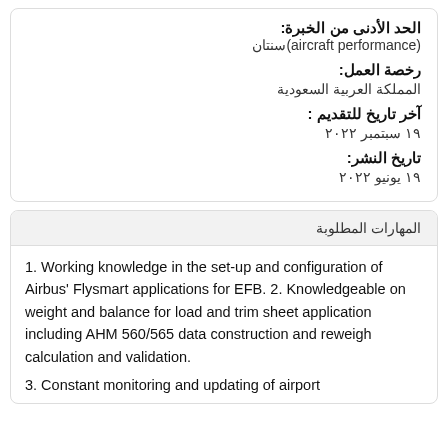الحد الأدنى من الخبرة:
سنتان(aircraft performance)
رخصة العمل:
المملكة العربية السعودية
آخر تاريخ للتقديم :
١٩ سبتمبر ٢٠٢٢
تاريخ النشر:
١٩ يونيو ٢٠٢٢
المهارات المطلوبة
1. Working knowledge in the set-up and configuration of Airbus' Flysmart applications for EFB. 2. Knowledgeable on weight and balance for load and trim sheet application including AHM 560/565 data construction and reweigh calculation and validation.
3. Constant monitoring and updating of airport